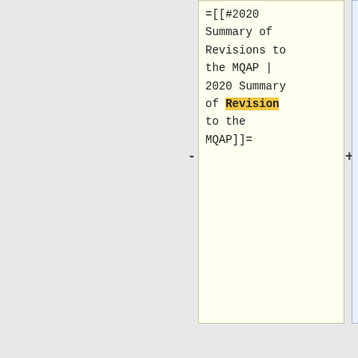=[[#2020 Summary of Revisions to the MQAP | 2020 Summary of Revision to the MQAP]]=
=[[#2020 Summary of Revisions to the MQAP | 2020 Summary of Revisions to the MQAP]]=
The Construction Field Services (CFS) Division has revised the Materials Quality Assurance Procedures (MQAP) Manual. A
The Construction Field Services (CFS) Division has revised the Materials Quality Assurance Procedures (MQAP) Manual. A